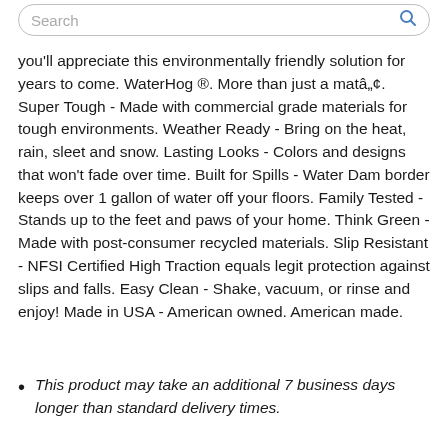Search
you'll appreciate this environmentally friendly solution for years to come. WaterHog ®. More than just a matâ„¢. Super Tough - Made with commercial grade materials for tough environments. Weather Ready - Bring on the heat, rain, sleet and snow. Lasting Looks - Colors and designs that won't fade over time. Built for Spills - Water Dam border keeps over 1 gallon of water off your floors. Family Tested - Stands up to the feet and paws of your home. Think Green - Made with post-consumer recycled materials. Slip Resistant - NFSI Certified High Traction equals legit protection against slips and falls. Easy Clean - Shake, vacuum, or rinse and enjoy! Made in USA - American owned. American made.
This product may take an additional 7 business days longer than standard delivery times.